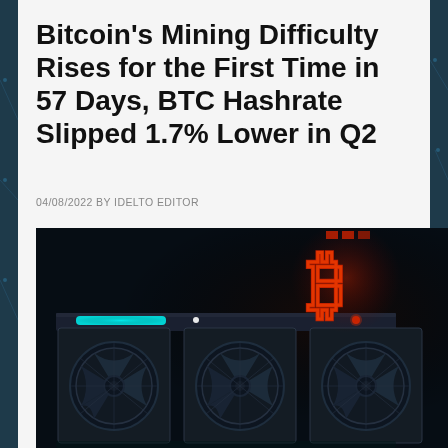Bitcoin's Mining Difficulty Rises for the First Time in 57 Days, BTC Hashrate Slipped 1.7% Lower in Q2
04/08/2022 BY IDELTO EDITOR
[Figure (photo): Dark image of Bitcoin mining hardware rigs with three large fan units, glowing cyan light bar on top, and a large red illuminated Bitcoin (BTC) logo symbol in the upper right]